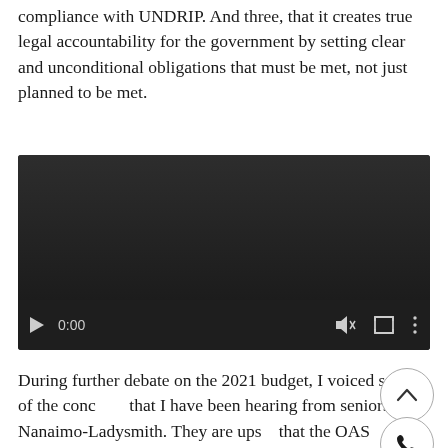compliance with UNDRIP. And three, that it creates true legal accountability for the government by setting clear and unconditional obligations that must be met, not just planned to be met.
[Figure (other): Embedded video player with dark background showing 0:00 timestamp, play button, volume icon, fullscreen icon, and more options icon, with a progress bar at the bottom.]
During further debate on the 2021 budget, I voiced some of the concerns that I have been hearing from seniors in Nanaimo-Ladysmith. They are upset that the OAS increase is only for seniors over the age of 75, leaving those 65-74